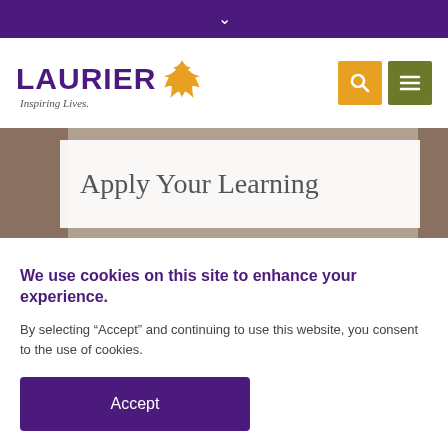Navigation top bar with chevron
[Figure (logo): Wilfrid Laurier University logo with maple leaf and tagline 'Inspiring Lives.']
[Figure (screenshot): Hero banner image showing 'Apply Your Learning' text over a blurred background photo]
Apply Your Learning
We use cookies on this site to enhance your experience.
By selecting “Accept” and continuing to use this website, you consent to the use of cookies.
Accept